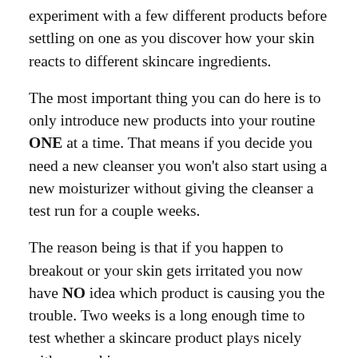experiment with a few different products before settling on one as you discover how your skin reacts to different skincare ingredients.
The most important thing you can do here is to only introduce new products into your routine ONE at a time. That means if you decide you need a new cleanser you won't also start using a new moisturizer without giving the cleanser a test run for a couple weeks.
The reason being is that if you happen to breakout or your skin gets irritated you now have NO idea which product is causing you the trouble. Two weeks is a long enough time to test whether a skincare product plays nicely with your skin.
You can also do something called a patch test which is basically applying a small amount of